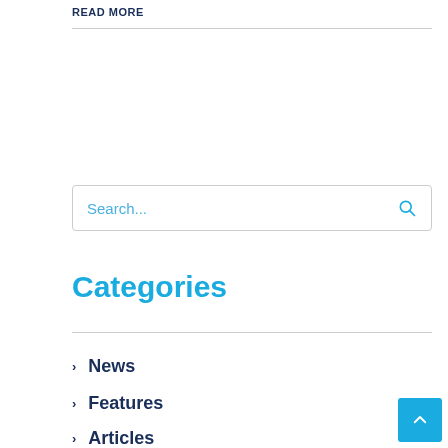READ MORE
[Figure (other): Search input box with placeholder text 'Search...' and a search icon on the right]
Categories
News
Features
Articles